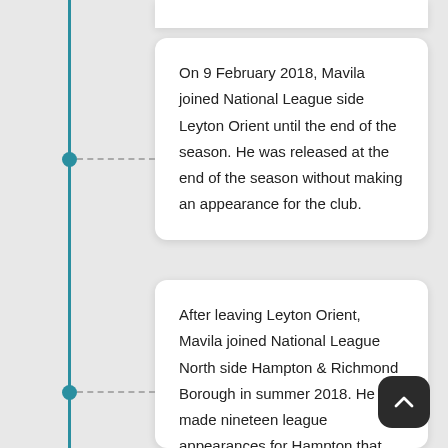On 9 February 2018, Mavila joined National League side Leyton Orient until the end of the season. He was released at the end of the season without making an appearance for the club.
After leaving Leyton Orient, Mavila joined National League North side Hampton & Richmond Borough in summer 2018. He made nineteen league appearances for Hampton that season and also played 90 minutes in two of the club's FA Cup ties, including a 1–2 loss to League Two side Oldham Athletic.